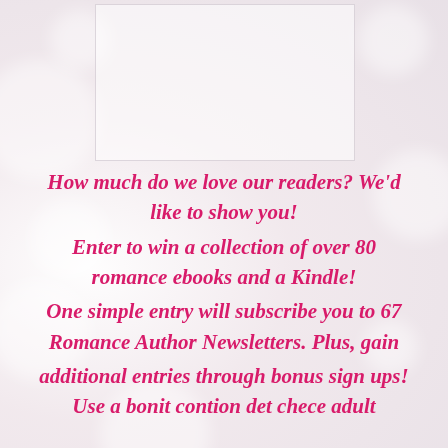[Figure (illustration): White rectangular box against a light bokeh/soft-focus background, representing a book cover or image placeholder]
How much do we love our readers? We'd like to show you! Enter to win a collection of over 80 romance ebooks and a Kindle! One simple entry will subscribe you to 67 Romance Author Newsletters. Plus, gain additional entries through bonus sign ups!